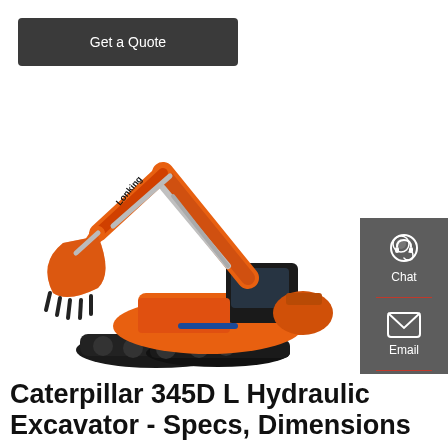Get a Quote
[Figure (photo): Orange hydraulic excavator (Caterpillar 345D L) photographed on white background, side view showing boom, arm, bucket, cab, and undercarriage tracks. Brand text 'Lonking' visible on arm.]
[Figure (illustration): Right sidebar with dark grey background showing three icons: chat/headset icon with label 'Chat', email envelope icon with label 'Email', speech bubble/contact icon with label 'Contact'. Red dividers between items.]
Caterpillar 345D L Hydraulic Excavator - Specs, Dimensions